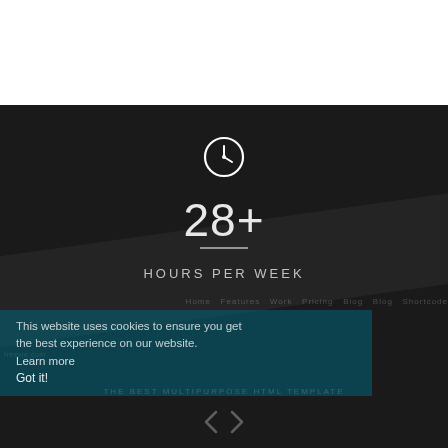[Figure (infographic): Dark-themed website screenshot/mockup showing a clock icon, the number 28+, a divider line, and the text HOURS PER WEEK. A cookie consent overlay bar is partially visible with text 'This website uses cookies to ensure you get the best experience on our website. Learn more' and a 'Got it!' button. Background is dark with diagonal bands suggesting a web template preview.]
28+
HOURS PER WEEK
This website uses cookies to ensure you get the best experience on our website.
Learn more
Got it!